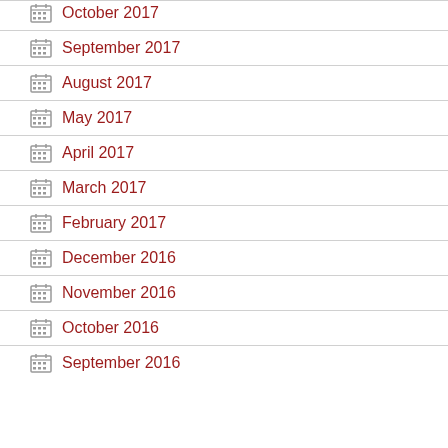October 2017
September 2017
August 2017
May 2017
April 2017
March 2017
February 2017
December 2016
November 2016
October 2016
September 2016